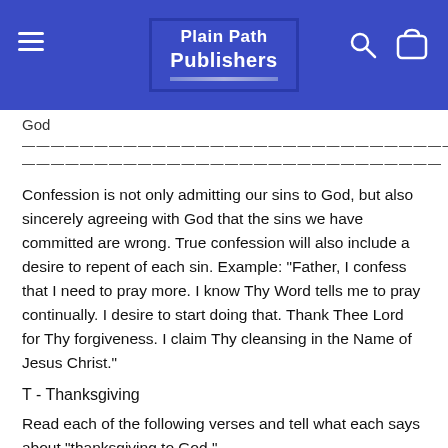Plain Path Publishers
God
————————————————————————————————————————————————————————
—————————————————————————————————————
Confession is not only admitting our sins to God, but also sincerely agreeing with God that the sins we have committed are wrong. True confession will also include a desire to repent of each sin. Example: "Father, I confess that I need to pray more. I know Thy Word tells me to pray continually. I desire to start doing that. Thank Thee Lord for Thy forgiveness. I claim Thy cleansing in the Name of Jesus Christ."
T - Thanksgiving
Read each of the following verses and tell what each says about "thanksgiving to God."